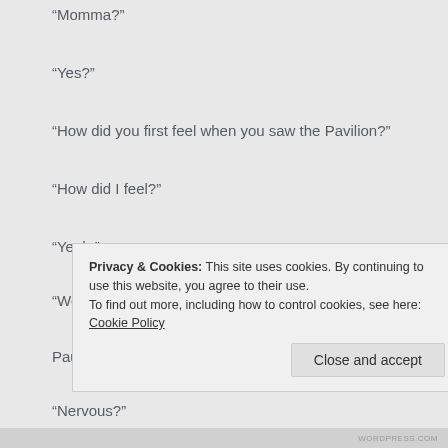“Momma?”
“Yes?”
“How did you first feel when you saw the Pavilion?”
“How did I feel?”
“Yeah.”
“Well, I liked it. It’s pretty cool.”
Pause. “Did you feel nervous?”
“Nervous?”
Privacy & Cookies: This site uses cookies. By continuing to use this website, you agree to their use.
To find out more, including how to control cookies, see here: Cookie Policy
WORDPRESS.COM